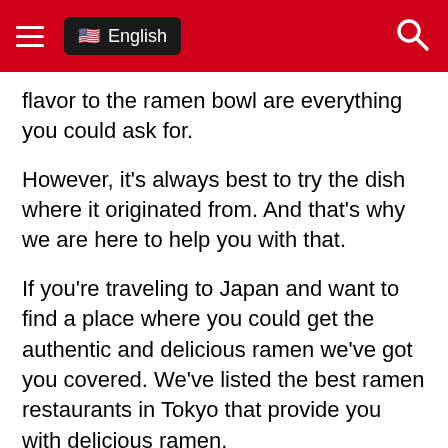≡  🇺🇸 English  🔍
flavor to the ramen bowl are everything you could ask for.
However, it's always best to try the dish where it originated from. And that's why we are here to help you with that.
If you're traveling to Japan and want to find a place where you could get the authentic and delicious ramen we've got you covered. We've listed the best ramen restaurants in Tokyo that provide you with delicious ramen.
Related: Must Try Japanese Street Food
Related: Why Japanese Eat And Love Raw